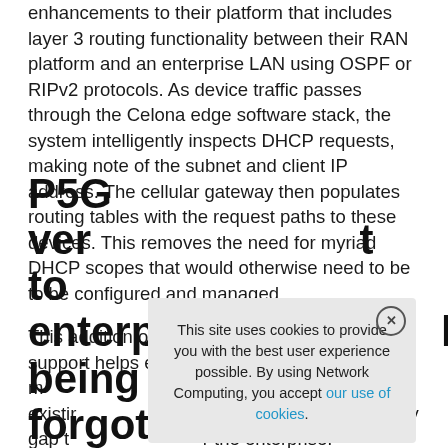enhancements to their platform that includes layer 3 routing functionality between their RAN platform and an enterprise LAN using OSPF or RIPv2 protocols. As device traffic passes through the Celona edge software stack, the system intelligently inspects DHCP requests, making note of the subnet and client IP address. The cellular gateway then populates routing tables with the request paths to these devices. This removes the need for myriad DHCP scopes that would otherwise need to be to be configured and managed.
This addition of dynamic routing protocol support helps enterprises m... P5G networks into an existir... liminating the visibility gap t... r the enterprise.
P5G ver... t to enterpr... being forgott...
This site uses cookies to provide you with the best user experience possible. By using Network Computing, you accept our use of cookies.